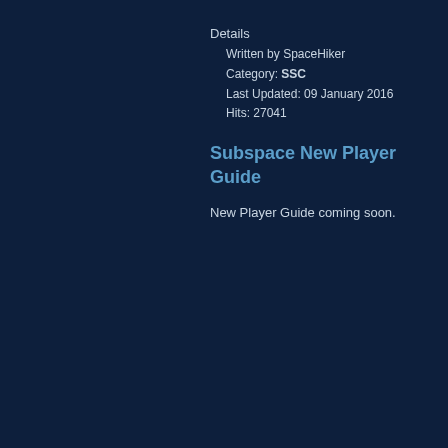Details
Written by SpaceHiker
Category: SSC
Last Updated: 09 January 2016
Hits: 27041
Subspace New Player Guide
New Player Guide coming soon.